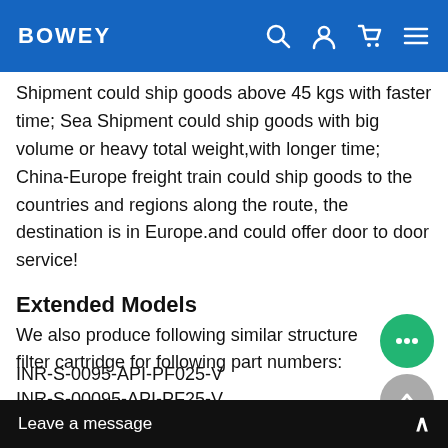BOWEY
Shipment could ship goods above 45 kgs with faster time; Sea Shipment could ship goods with big volume or heavy total weight,with longer time; China-Europe freight train could ship goods to the countries and regions along the route, the destination is in Europe.and could offer door to door service!
Extended Models
We also produce following similar structure filter cartridge for following part numbers:
INR-S-0095-API-PF025-V
INR-S-00095-API-PF25-V
DDH-S-120-H-SS-UPG-AD
INR-S-125-H-SS-U